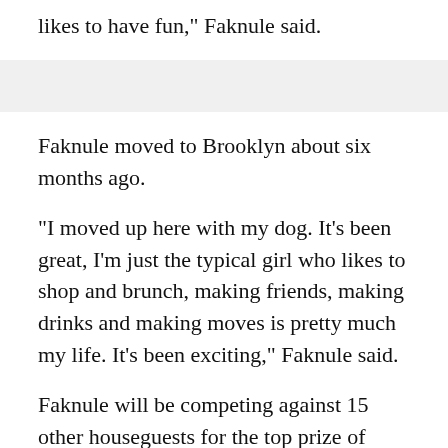likes to have fun," Faknule said.
Faknule moved to Brooklyn about six months ago.
"I moved up here with my dog. It's been great, I'm just the typical girl who likes to shop and brunch, making friends, making drinks and making moves is pretty much my life. It's been exciting," Faknule said.
Faknule will be competing against 15 other houseguests for the top prize of $500,000.
"It would mean everything to me. I'm very responsible with my money so chances are I would save a large portion of it. I'm not going to blow it on Chanel bags. I'm probably going to save a lot to...